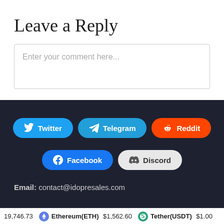Leave a Reply
Enter your comment here...
[Figure (screenshot): Social media share buttons row 1: Twitter (blue), Telegram (blue), Reddit (orange)]
[Figure (screenshot): Social media share buttons row 2: Facebook (blue), Discord (gray)]
Email: contact@idopresales.com
19,746.73   Ethereum(ETH) $1,562.60   Tether(USDT) $1.00